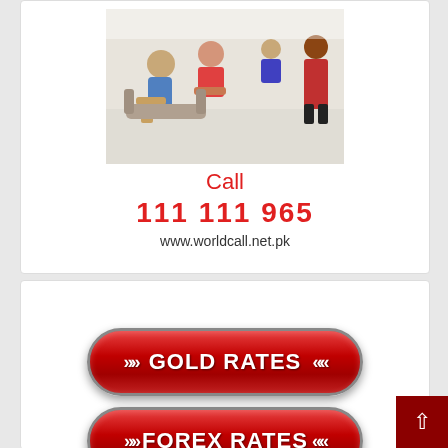[Figure (photo): Group of people sitting in a waiting room or office setting, casual scene with multiple people]
Call
111 111 965
www.worldcall.net.pk
[Figure (infographic): Red rounded button with white text '>> GOLD RATES <<']
[Figure (infographic): Red rounded button with white text '>>FOREX RATES<<']